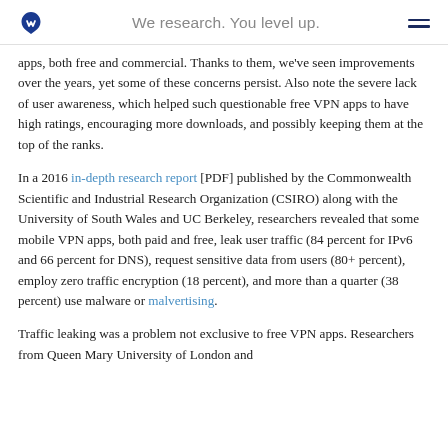We research. You level up.
apps, both free and commercial. Thanks to them, we've seen improvements over the years, yet some of these concerns persist. Also note the severe lack of user awareness, which helped such questionable free VPN apps to have high ratings, encouraging more downloads, and possibly keeping them at the top of the ranks.
In a 2016 in-depth research report [PDF] published by the Commonwealth Scientific and Industrial Research Organization (CSIRO) along with the University of South Wales and UC Berkeley, researchers revealed that some mobile VPN apps, both paid and free, leak user traffic (84 percent for IPv6 and 66 percent for DNS), request sensitive data from users (80+ percent), employ zero traffic encryption (18 percent), and more than a quarter (38 percent) use malware or malvertising.
Traffic leaking was a problem not exclusive to free VPN apps. Researchers from Queen Mary University of London and